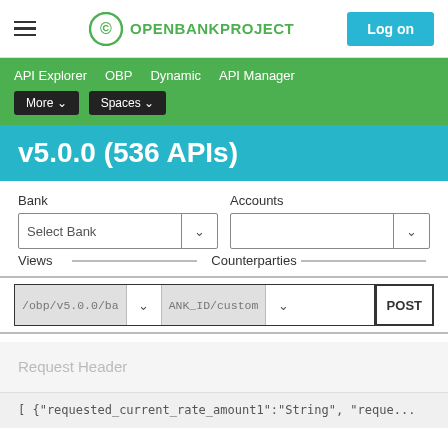OPENBANKPROJECT — Log on
API Explorer  OBP  Dynamic  API Manager  More ▾  Spaces ▾
v5.0.0 (536 APIs)
Bank  Accounts  Select Bank  Views  Counterparties
/obp/v5.0.0/ba  ANK_ID/custom  POST
Request Header
[ {"requested_current_rate_amount1":"String", "reque...